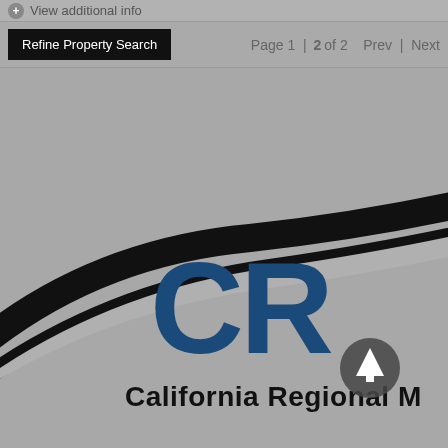View additional info
Refine Property Search
Page 1 | 2 of 2   Prev | Next
1–25 of 48 properties displayed
[Figure (logo): California Regional MLS (CRMLS) logo — large blue letters 'CR' with swooping black arc graphic, text 'California Regional M' visible]